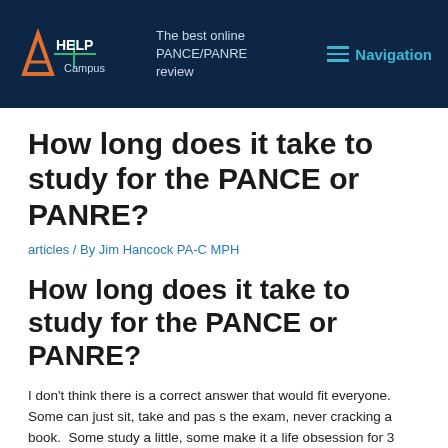The best online PANCE/PANRE review | Navigation
How long does it take to study for the PANCE or PANRE?
articles / By Jim Hancock PA-C MPH
How long does it take to study for the PANCE or PANRE?
I don't think there is a correct answer that would fit everyone. Some can just sit, take and pas s the exam, never cracking a book.  Some study a little, some make it a life obsession for 3 months.  What you...